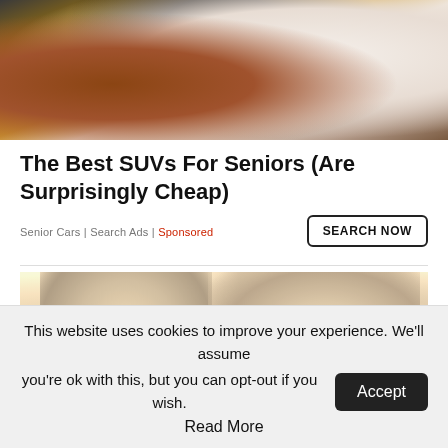[Figure (photo): Luxury car interior showing brown leather seats and white leather trim with center console]
The Best SUVs For Seniors (Are Surprisingly Cheap)
Senior Cars | Search Ads | Sponsored
SEARCH NOW
[Figure (photo): Sepia-toned photo of two people: a woman on the left and a smiling bearded man on the right]
This website uses cookies to improve your experience. We'll assume you're ok with this, but you can opt-out if you wish.
Accept
Read More